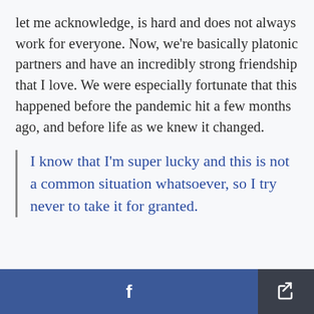let me acknowledge, is hard and does not always work for everyone. Now, we're basically platonic partners and have an incredibly strong friendship that I love. We were especially fortunate that this happened before the pandemic hit a few months ago, and before life as we knew it changed.
I know that I'm super lucky and this is not a common situation whatsoever, so I try never to take it for granted.
Facebook share | Share